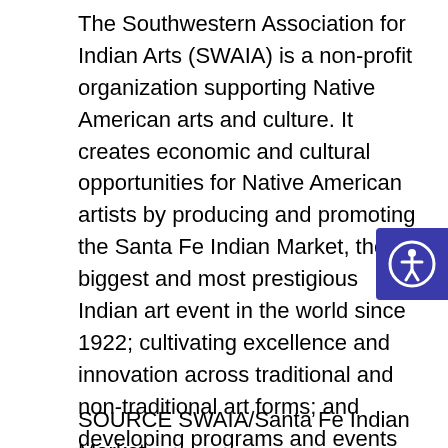The Southwestern Association for Indian Arts (SWAIA) is a non-profit organization supporting Native American arts and culture. It creates economic and cultural opportunities for Native American artists by producing and promoting the Santa Fe Indian Market, the biggest and most prestigious Indian art event in the world since 1922; cultivating excellence and innovation across traditional and non-traditional art forms; and developing programs and events that support, promote, and honor Native artists year-round. swaia.org
[Figure (other): Accessibility icon button — blue square with white person-in-circle accessibility symbol]
SOURCE SWAIA/Santa Fe Indian Market